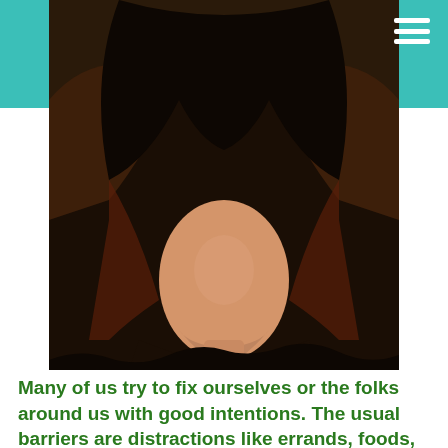[Figure (illustration): Illustrated portrait of a person with skin tone visible at the chin/neck area, wearing a dark hooded garment, set against a dark brown and reddish background with dramatic painterly rendering. The top portion of the image sits behind a teal/turquoise header bar.]
Many of us try to fix ourselves or the folks around us with good intentions. The usual barriers are distractions like errands, foods, drinks, events, work, media, etc...
I am aware of this because I participate in procrastination too. I focus on the problems and the many ways my problems, although small when compared to others', takes on many layers and facets. The adjectives and layers of issues can grow in my mind, kind of like an candy apple bar at Neiman Marcus. I add the layers of